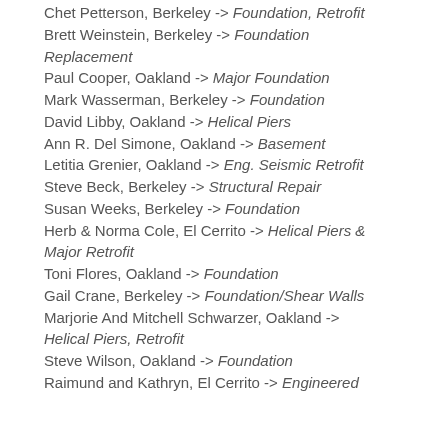Chet Petterson, Berkeley -> Foundation, Retrofit
Brett Weinstein, Berkeley -> Foundation Replacement
Paul Cooper, Oakland -> Major Foundation
Mark Wasserman, Berkeley -> Foundation
David Libby, Oakland -> Helical Piers
Ann R. Del Simone, Oakland -> Basement
Letitia Grenier, Oakland -> Eng. Seismic Retrofit
Steve Beck, Berkeley -> Structural Repair
Susan Weeks, Berkeley -> Foundation
Herb & Norma Cole, El Cerrito -> Helical Piers & Major Retrofit
Toni Flores, Oakland -> Foundation
Gail Crane, Berkeley -> Foundation/Shear Walls
Marjorie And Mitchell Schwarzer, Oakland -> Helical Piers, Retrofit
Steve Wilson, Oakland -> Foundation
Raimund and Kathryn, El Cerrito -> Engineered